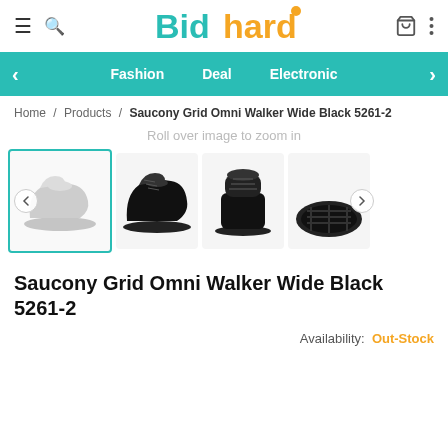[Figure (logo): Bidhard logo with teal 'Bid' and golden 'hard' text, with a small dot above the 'd']
Fashion   Deal   Electronic
Home / Products / Saucony Grid Omni Walker Wide Black 5261-2
Roll over image to zoom in
[Figure (photo): Four product photos of Saucony Grid Omni Walker Wide Black shoes: side view (grayscale selected), lateral view, front view, bottom view]
Saucony Grid Omni Walker Wide Black 5261-2
Availability: Out-Stock